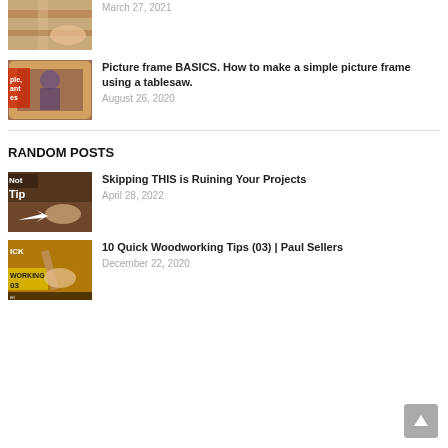[Figure (photo): Thumbnail of woodworking/picture frame project, partially cropped at top]
March 27, 2021
[Figure (photo): Thumbnail of person making a picture frame with a tablesaw]
Picture frame BASICS. How to make a simple picture frame using a tablesaw.
August 26, 2020
RANDOM POSTS
[Figure (photo): Thumbnail showing woodworking tip - skipping a step, text overlay: Not a Tip]
Skipping THIS is Ruining Your Projects
April 28, 2022
[Figure (photo): Thumbnail for 10 Quick Woodworking Tips (03) by Paul Sellers]
10 Quick Woodworking Tips (03) | Paul Sellers
December 22, 2020